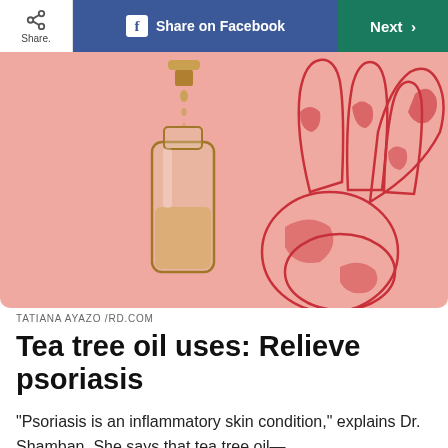Share | Share on Facebook | Next >
[Figure (illustration): Illustration on pink background: a small glass bottle with golden oil and droplets falling from above; on the right, a hand with red psoriasis patches on the fingers.]
TATIANA AYAZO /RD.COM
Tea tree oil uses: Relieve psoriasis
“Psoriasis is an inflammatory skin condition,” explains Dr. Shamban. She says that tea tree oil—